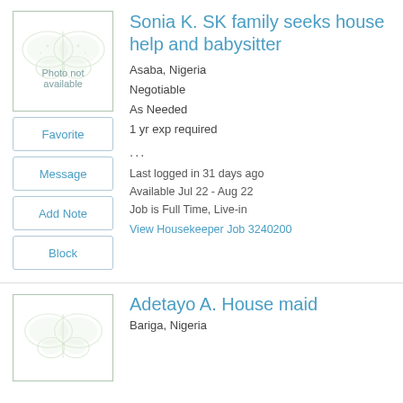[Figure (photo): Photo not available placeholder with butterfly watermark]
Sonia K. SK family seeks house help and babysitter
Asaba, Nigeria
Negotiable
As Needed
1 yr exp required
...
Last logged in 31 days ago
Available Jul 22 - Aug 22
Job is Full Time, Live-in
View Housekeeper Job 3240200
[Figure (photo): Photo not available placeholder with butterfly watermark]
Adetayo A. House maid
Bariga, Nigeria